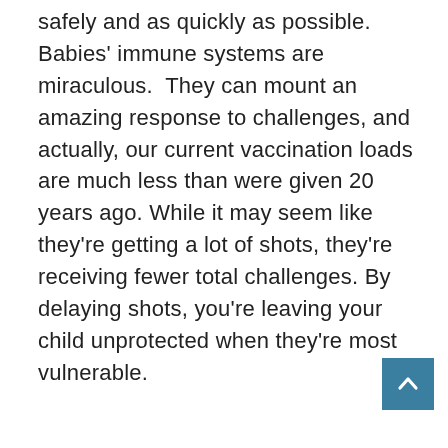safely and as quickly as possible. Babies' immune systems are miraculous.  They can mount an amazing response to challenges, and actually, our current vaccination loads are much less than were given 20 years ago. While it may seem like they're getting a lot of shots, they're receiving fewer total challenges. By delaying shots, you're leaving your child unprotected when they're most vulnerable.